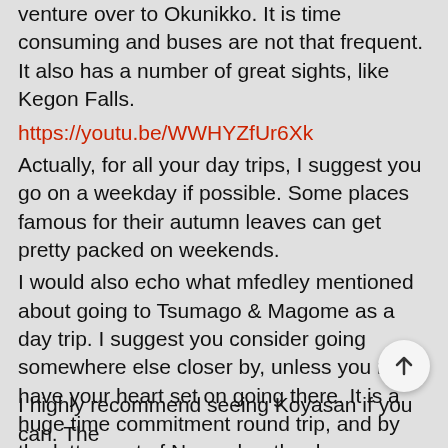venture over to Okunikko. It is time consuming and buses are not that frequent. It also has a number of great sights, like Kegon Falls.
https://youtu.be/WWHYZfUr6Xk
Actually, for all your day trips, I suggest you go on a weekday if possible. Some places famous for their autumn leaves can get pretty packed on weekends.
I would also echo what mfedley mentioned about going to Tsumago & Magome as a day trip. I suggest you consider going somewhere else closer by, unless you really have your heart set on going there. It is a huge time commitment round trip, and by the latter part of November the days are already getting pretty short. To add another suggestion for a nice walk, you could try the Akame 48 Falls in Mie. Far more natural beauty than Nakasendo type history though. It's a bit of trouble getting there too, but it doesn't take that long, and in Sakurai, Nara, there are some other lesser known but gorgeous temples to see.
I highly recommend seeing Koyasan if you can. The